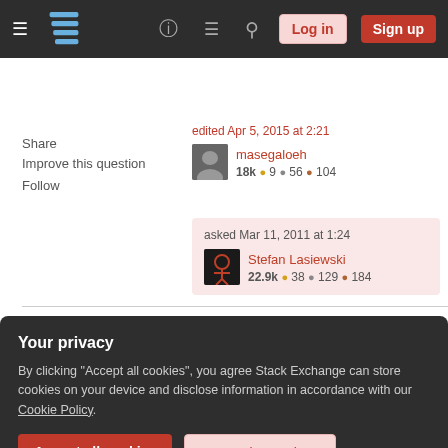[Figure (screenshot): Stack Exchange navigation bar with hamburger menu, logo, help icon, chat icon, search icon, Log in button, and Sign up button on dark background]
Share
Improve this question
Follow
edited Apr 5, 2015 at 2:21
masegaloeh
18k ●9 ●56 ●104
asked Mar 11, 2011 at 1:24
Stefan Lasiewski
22.9k ●38 ●129 ●184
Deny from all 192.168.16.100 -- Since you are using "all" here, I would expect all requests to be denied from
Your privacy
By clicking "Accept all cookies", you agree Stack Exchange can store cookies on your device and disclose information in accordance with our Cookie Policy.
Accept all cookies
Customize settings
statement, the request is allowed.
Stefan Lasiewski
Apr 6, 2011 at 20:24